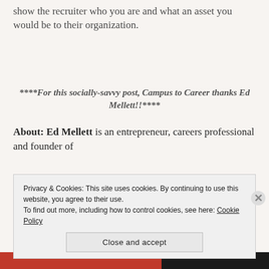show the recruiter who you are and what an asset you would be to their organization.
****For this socially-savvy post, Campus to Career thanks Ed Mellett!!****
About: Ed Mellett is an entrepreneur, careers professional and founder of
Privacy & Cookies: This site uses cookies. By continuing to use this website, you agree to their use.
To find out more, including how to control cookies, see here: Cookie Policy
Close and accept